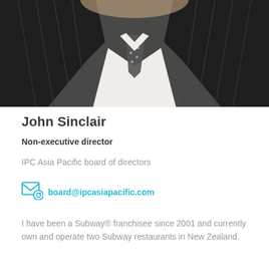[Figure (photo): Portrait photo of John Sinclair wearing a dark pinstriped jacket with a white shirt and polka dot tie, cropped at shoulder/chest level.]
John Sinclair
Non-executive director
IPC Asia Pacific board of directors
board@ipcasiapacific.com
I have been a Subway® franchisee since 2001 and currently own and operate two Subway restaurants in New Zealand.